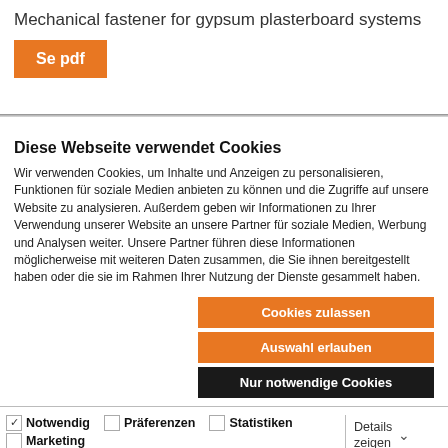Mechanical fastener for gypsum plasterboard systems
[Figure (other): Orange button labeled 'Se pdf']
Diese Webseite verwendet Cookies
Wir verwenden Cookies, um Inhalte und Anzeigen zu personalisieren, Funktionen für soziale Medien anbieten zu können und die Zugriffe auf unsere Website zu analysieren. Außerdem geben wir Informationen zu Ihrer Verwendung unserer Website an unsere Partner für soziale Medien, Werbung und Analysen weiter. Unsere Partner führen diese Informationen möglicherweise mit weiteren Daten zusammen, die Sie ihnen bereitgestellt haben oder die sie im Rahmen Ihrer Nutzung der Dienste gesammelt haben.
Cookies zulassen
Auswahl erlauben
Nur notwendige Cookies
Notwendig  Präferenzen  Statistiken  Marketing  Details zeigen